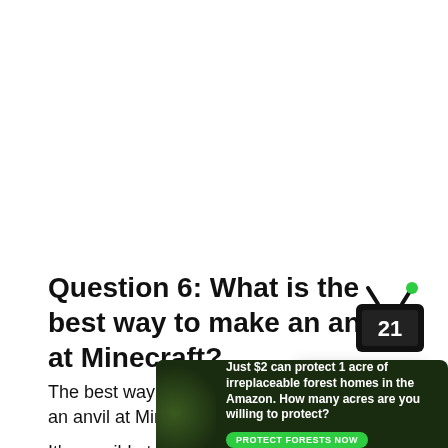Question 6: What is the best way to make an anvil at Minecraft?
The best way to make an anvil at Minecraft
It's possible to use a Crafting Table to make anything in
[Figure (other): Contact Us widget — white rounded rectangle with the text 'Contact Us' in monospace font]
[Figure (logo): Channel 21 TV logo icon — black TV shape with green dot antenna and '21' in white text on black background]
[Figure (infographic): Amazon forest advertisement banner: dark forest background with text 'Just $2 can protect 1 acre of irreplaceable forest homes in the Amazon. How many acres are you willing to protect?' and a green 'PROTECT FORESTS NOW' button]